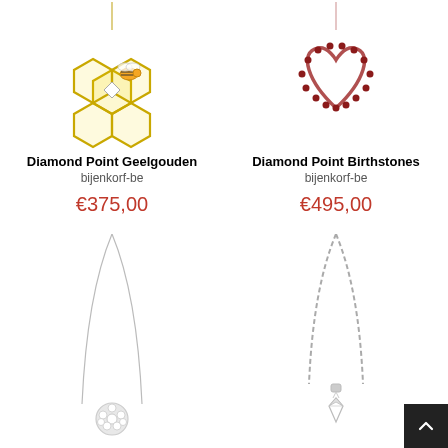[Figure (photo): Gold honeycomb pendant necklace with bee and diamond accent, bijenkorf-be]
Diamond Point Geelgouden
bijenkorf-be
€375,00
[Figure (photo): Rose gold open heart pendant necklace with red gemstones, bijenkorf-be]
Diamond Point Birthstones
bijenkorf-be
€495,00
[Figure (photo): White gold slim chain necklace with round diamond cluster pendant]
[Figure (photo): White gold box chain necklace with small solitaire diamond pendant]